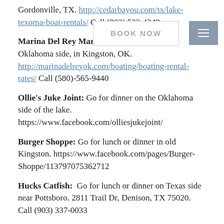Gordonville, TX. http://cedarbayou.com/tx/lake-texoma-boat-rentals/ Call (903) 523-4248
Marina Del Rey Marina: Renting a boat for Oklahoma side, in Kingston, OK. http://marinadelreyok.com/boating/boating-rental-rates/ Call (580)-565-9440
Ollie's Juke Joint: Go for dinner on the Oklahoma side of the lake. https://www.facebook.com/olliesjukejoint/
Burger Shoppe: Go for lunch or dinner in old Kingston. https://www.facebook.com/pages/Burger-Shoppe/113797075362712
Hucks Catfish: Go for lunch or dinner on Texas side near Pottsboro. 2811 Trail Dr, Denison, TX 75020. Call (903) 337-0033
Striper Guide fishing service is abundant at Lake Texoma. Anthony's Striper Guide service for years out of Buncombe Creek when staying on the Oklahoma side, his number is 405-